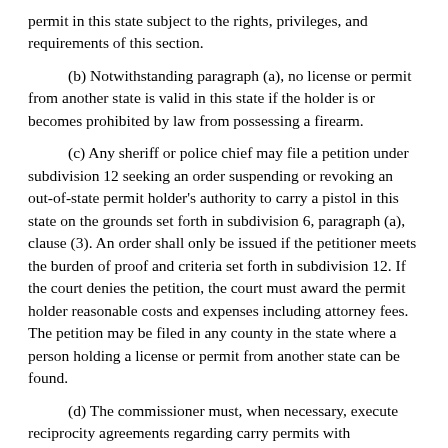permit in this state subject to the rights, privileges, and requirements of this section.
(b) Notwithstanding paragraph (a), no license or permit from another state is valid in this state if the holder is or becomes prohibited by law from possessing a firearm.
(c) Any sheriff or police chief may file a petition under subdivision 12 seeking an order suspending or revoking an out-of-state permit holder's authority to carry a pistol in this state on the grounds set forth in subdivision 6, paragraph (a), clause (3). An order shall only be issued if the petitioner meets the burden of proof and criteria set forth in subdivision 12. If the court denies the petition, the court must award the permit holder reasonable costs and expenses including attorney fees. The petition may be filed in any county in the state where a person holding a license or permit from another state can be found.
(d) The commissioner must, when necessary, execute reciprocity agreements regarding carry permits with jurisdictions whose carry permits are recognized under paragraph (a).
Subd. 17. Posting; trespass. (a) A person carrying a